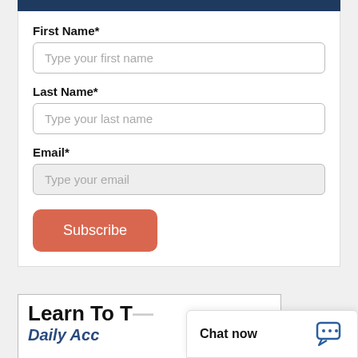First Name*
Type your first name
Last Name*
Type your last name
Email*
Type your email
Subscribe
Learn To T...
Daily Acc...
Chat now